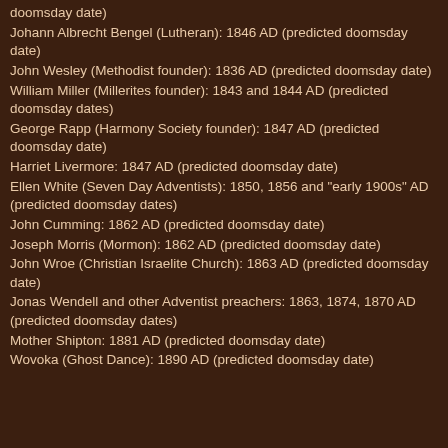doomsday date)
Johann Albrecht Bengel (Lutheran): 1846 AD (predicted doomsday date)
John Wesley (Methodist founder): 1836 AD (predicted doomsday date)
William Miller (Millerites founder): 1843 and 1844 AD (predicted doomsday dates)
George Rapp (Harmony Society founder): 1847 AD (predicted doomsday date)
Harriet Livermore: 1847 AD (predicted doomsday date)
Ellen White (Seven Day Adventists): 1850, 1856 and "early 1900s" AD (predicted doomsday dates)
John Cumming: 1862 AD (predicted doomsday date)
Joseph Morris (Mormon): 1862 AD (predicted doomsday date)
John Wroe (Christian Israelite Church): 1863 AD (predicted doomsday date)
Jonas Wendell and other Adventist preachers: 1863, 1874, 1870 AD (predicted doomsday dates)
Mother Shipton: 1881 AD (predicted doomsday date)
Wovoka (Ghost Dance): 1890 AD (predicted doomsday date)